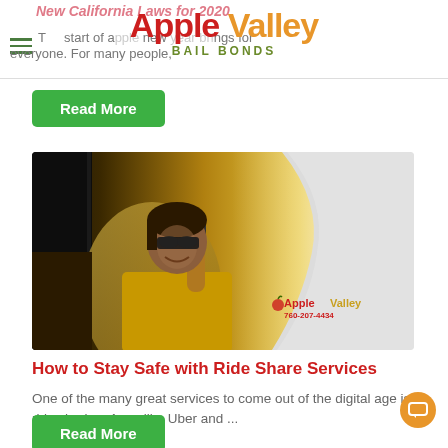New California Laws for 2020 — Apple Valley Bail Bonds
The start of a new year brings changes for everyone. For many people,
Read More
[Figure (photo): Woman in yellow shirt sitting in car, talking on phone, smiling. Apple Valley Bail Bonds logo and phone number 760-207-4434 overlaid on image.]
How to Stay Safe with Ride Share Services
One of the many great services to come out of the digital age is ride sharing. Apps like Uber and ...
Read More